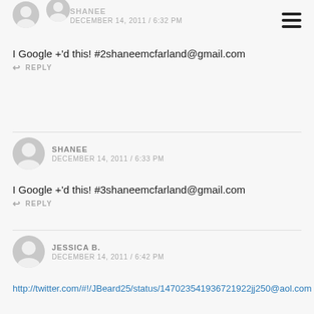[Figure (other): Hamburger menu icon (three horizontal bars) in top right corner]
SHANEE
DECEMBER 14, 2011 / 6:32 PM
I Google +'d this! #2shaneemcfarland@gmail.com
REPLY
SHANEE
DECEMBER 14, 2011 / 6:33 PM
I Google +'d this! #3shaneemcfarland@gmail.com
REPLY
JESSICA B.
DECEMBER 14, 2011 / 6:42 PM
http://twitter.com/#!/JBeard25/status/147023541936721922jj250@aol.com